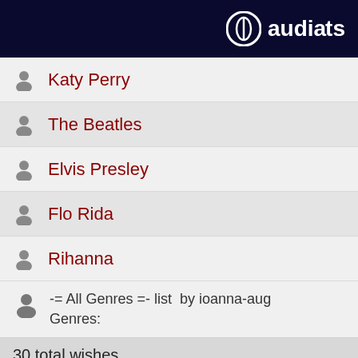audiats
Katy Perry
The Beatles
Elvis Presley
Flo Rida
Rihanna
-= All Genres =- list by ioanna-aug
Genres:
30 total wishes
Taylor Swift
Michael Jackson